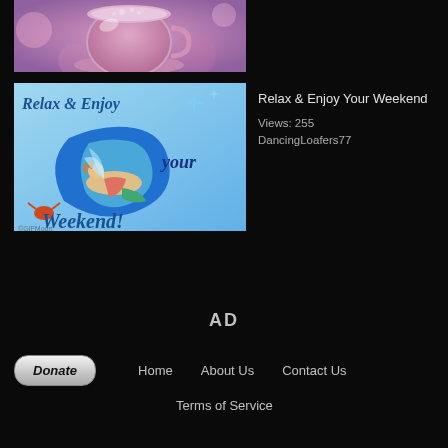[Figure (photo): Partial view of a pink tea/coffee cup with saucer, soft blurred pink floral background]
[Figure (illustration): Animated 'Relax & Enjoy Your Weekend' graphic with a fairy/mermaid lying on a blue crescent moon, teal and blue background with decorative text]
Relax & Enjoy Your Weekend
Views: 255
DancingLoafers77
AD
Donate  Home  About Us  Contact Us  Terms of Service